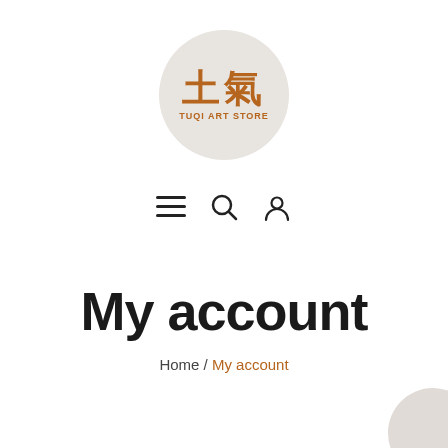[Figure (logo): Tuqi Art Store logo: circular light grey background with Chinese characters 土氣 in brown and text TUQI ART STORE below in brown]
[Figure (infographic): Navigation icons: hamburger menu (three lines), search (magnifying glass), and user/account (person silhouette)]
My account
Home / My account